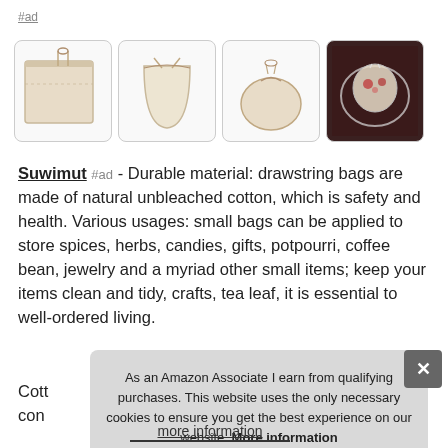#ad
[Figure (photo): Four product images of cotton drawstring bags: flat square bag, upright empty bag, filled rounded bag, filled bag in glass bowl]
Suwimut #ad - Durable material: drawstring bags are made of natural unbleached cotton, which is safety and health. Various usages: small bags can be applied to store spices, herbs, candies, gifts, potpourri, coffee bean, jewelry and a myriad other small items; keep your items clean and tidy, crafts, tea leaf, it is essential to well-ordered living.
Cott con
As an Amazon Associate I earn from qualifying purchases. This website uses the only necessary cookies to ensure you get the best experience on our website. More information
more information